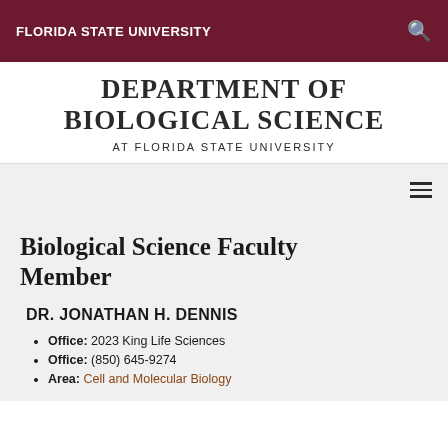FLORIDA STATE UNIVERSITY
DEPARTMENT OF BIOLOGICAL SCIENCE AT FLORIDA STATE UNIVERSITY
Biological Science Faculty Member
DR. JONATHAN H. DENNIS
Office: 2023 King Life Sciences
Office: (850) 645-9274
Area: Cell and Molecular Biology